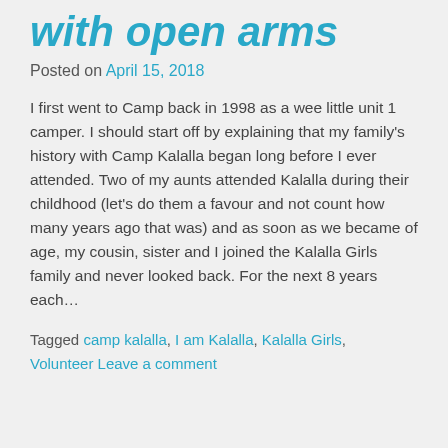with open arms
Posted on April 15, 2018
I first went to Camp back in 1998 as a wee little unit 1 camper. I should start off by explaining that my family's history with Camp Kalalla began long before I ever attended. Two of my aunts attended Kalalla during their childhood (let's do them a favour and not count how many years ago that was) and as soon as we became of age, my cousin, sister and I joined the Kalalla Girls family and never looked back. For the next 8 years each…
Tagged camp kalalla, I am Kalalla, Kalalla Girls, Volunteer Leave a comment